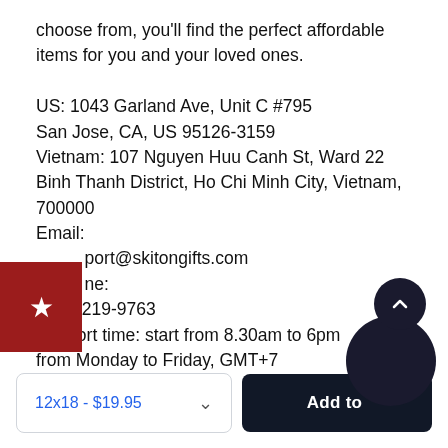choose from, you'll find the perfect affordable items for you and your loved ones.

US: 1043 Garland Ave, Unit C #795
San Jose, CA, US 95126-3159
Vietnam: 107 Nguyen Huu Canh St, Ward 22
Binh Thanh District, Ho Chi Minh City, Vietnam, 700000
Email:
port@skitongifts.com
ne:
(931) 219-9763
Support time: start from 8.30am to 6pm
from Monday to Friday, GMT+7